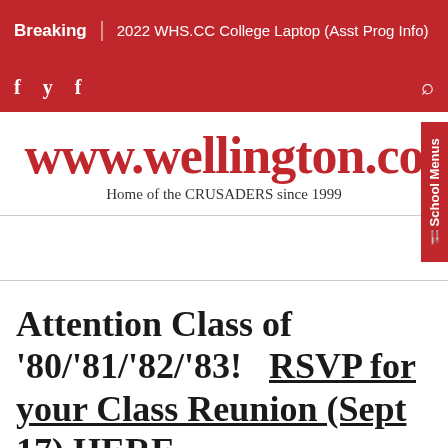Breaking | 2022 WHS.CC College Laptop (Asst Prog Info)
f  y  f  [search icon]
www.wellington.co
Home of the CRUSADERS since 1999
School Menus
Attention Class of '80/'81/'82/'83!   RSVP for your Class Reunion (Sept 17) HERE